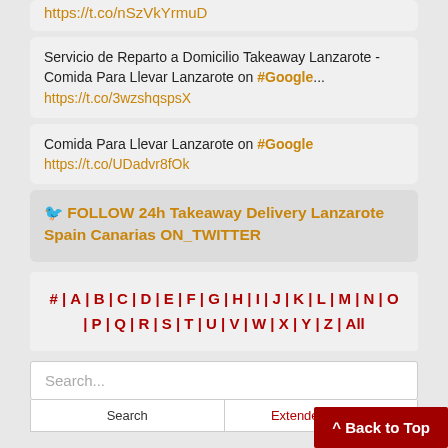https://t.co/nSzVkYrmuD
Servicio de Reparto a Domicilio Takeaway Lanzarote - Comida Para Llevar Lanzarote on #Google... https://t.co/3wzshqspsX
Comida Para Llevar Lanzarote on #Google https://t.co/UDadvr8fOk
🐦 FOLLOW 24h Takeaway Delivery Lanzarote Spain Canarias ON_TWITTER
# | A | B | C | D | E | F | G | H | I | J | K | L | M | N | O | P | Q | R | S | T | U | V | W | X | Y | Z | All
Search...
Search
Extended Search
^ Back to Top